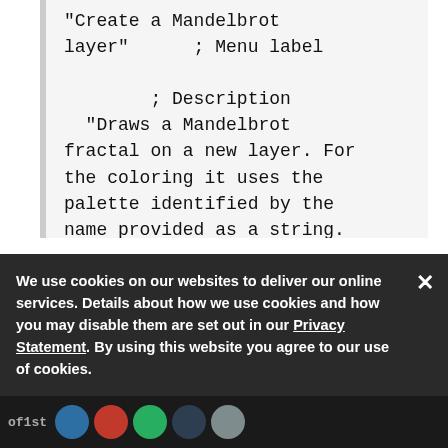"Create a Mandelbrot layer"      ; Menu label

        ; Description
  "Draws a Mandelbrot fractal on a new layer. For the coloring it uses the palette identified by the name provided as a string. The image boundaries are defined by its domain width and height, which correspond to the image width and height respectively. Finally the
We use cookies on our websites to deliver our online services. Details about how we use cookies and how you may disable them are set out in our Privacy Statement. By using this website you agree to our use of cookies.